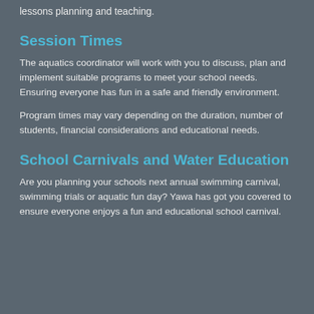lessons planning and teaching.
Session Times
The aquatics coordinator will work with you to discuss, plan and implement suitable programs to meet your school needs. Ensuring everyone has fun in a safe and friendly environment.
Program times may vary depending on the duration, number of students, financial considerations and educational needs.
School Carnivals and Water Education
Are you planning your schools next annual swimming carnival, swimming trials or aquatic fun day? Yawa has got you covered to ensure everyone enjoys a fun and educational school carnival.